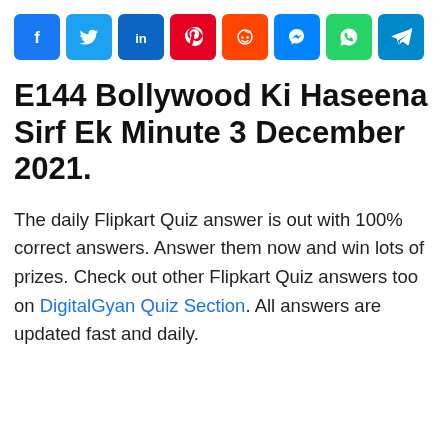[Figure (infographic): Row of 8 social media sharing icons: Facebook (blue), Twitter (light blue), LinkedIn (dark blue), Pinterest (red), Reddit (orange-red), Messenger (blue), WhatsApp (green), Telegram (blue)]
E144 Bollywood Ki Haseena Sirf Ek Minute 3 December 2021.
The daily Flipkart Quiz answer is out with 100% correct answers. Answer them now and win lots of prizes. Check out other Flipkart Quiz answers too on DigitalGyan Quiz Section. All answers are updated fast and daily.